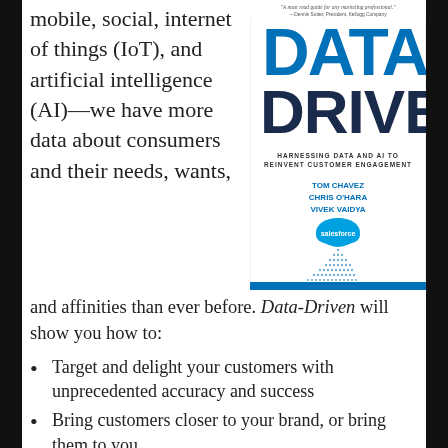mobile, social, internet of things (IoT), and artificial intelligence (AI)—we have more data about consumers and their needs, wants,
[Figure (photo): Book cover of 'Data-Driven: Harnessing Data and AI to Reinvent Customer Engagement' by Tom Chavez, Chris O'Hara, Vivek Vaidya. Published with Salesforce branding. Blue and white design with large DATA DRIVEN title text.]
and affinities than ever before. Data-Driven will show you how to:
Target and delight your customers with unprecedented accuracy and success
Bring customers closer to your brand, or bring them to you